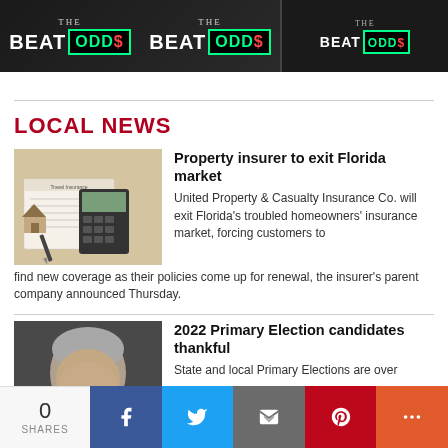[Figure (photo): Beat The Odds logo / TV show banner displayed multiple times across a dark background strip]
LOCAL NEWS
[Figure (photo): Insurance documents with a small house model, calculator, and pen on a desk]
Property insurer to exit Florida market
United Property & Casualty Insurance Co. will exit Florida's troubled homeowners' insurance market, forcing customers to find new coverage as their policies come up for renewal, the insurer's parent company announced Thursday.
[Figure (photo): Headshot of a grey-haired man, partial view]
2022 Primary Election candidates thankful
State and local Primary Elections are over